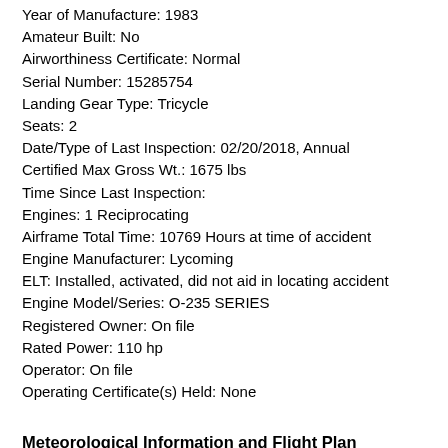Year of Manufacture: 1983
Amateur Built: No
Airworthiness Certificate: Normal
Serial Number: 15285754
Landing Gear Type: Tricycle
Seats: 2
Date/Type of Last Inspection: 02/20/2018, Annual
Certified Max Gross Wt.: 1675 lbs
Time Since Last Inspection:
Engines: 1 Reciprocating
Airframe Total Time: 10769 Hours at time of accident
Engine Manufacturer: Lycoming
ELT: Installed, activated, did not aid in locating accident
Engine Model/Series: O-235 SERIES
Registered Owner: On file
Rated Power: 110 hp
Operator: On file
Operating Certificate(s) Held: None
Meteorological Information and Flight Plan
Conditions at Accident Site: Visual Conditions